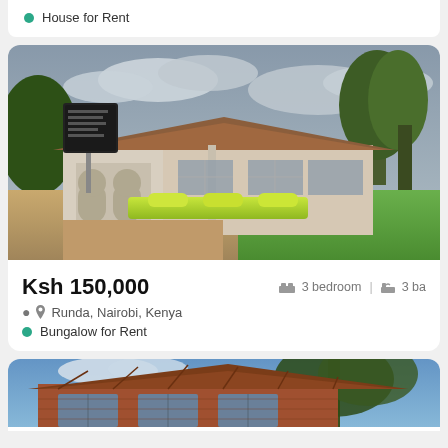House for Rent
[Figure (photo): Exterior photo of a single-story bungalow with white arched facade, brown tile roof, green hedges and lawn, large trees, under cloudy sky in Runda, Nairobi, Kenya]
Ksh 150,000
3 bedroom | 3 ba
Runda, Nairobi, Kenya
Bungalow for Rent
[Figure (photo): Exterior photo of a two-story house with red brick walls, brown tile roof, trees with hanging foliage, blue sky with clouds]